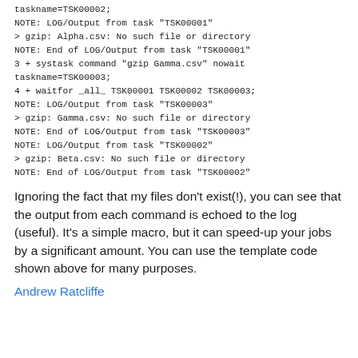taskname=TSK00002;
NOTE: LOG/Output from task "TSK00001"
> gzip: Alpha.csv: No such file or directory
NOTE: End of LOG/Output from task "TSK00001"
3 + systask command "gzip Gamma.csv" nowait taskname=TSK00003;
4 + waitfor _all_ TSK00001 TSK00002 TSK00003;
NOTE: LOG/Output from task "TSK00003"
> gzip: Gamma.csv: No such file or directory
NOTE: End of LOG/Output from task "TSK00003"
NOTE: LOG/Output from task "TSK00002"
> gzip: Beta.csv: No such file or directory
NOTE: End of LOG/Output from task "TSK00002"
Ignoring the fact that my files don't exist(!), you can see that the output from each command is echoed to the log (useful). It's a simple macro, but it can speed-up your jobs by a significant amount. You can use the template code shown above for many purposes.
Andrew Ratcliffe